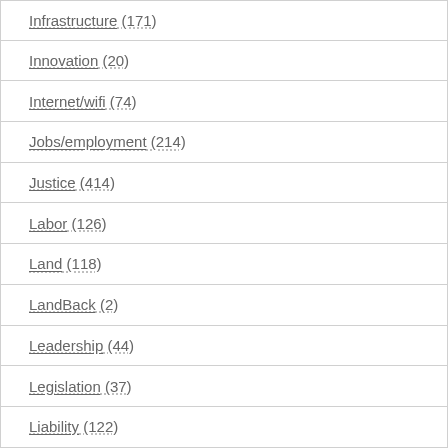Infrastructure (171)
Innovation (20)
Internet/wifi (74)
Jobs/employment (214)
Justice (414)
Labor (126)
Land (118)
LandBack (2)
Leadership (44)
Legislation (37)
Liability (122)